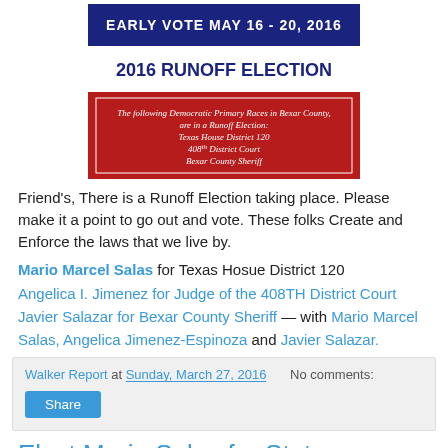[Figure (infographic): 2016 Runoff Election announcement poster with dark blue header 'EARLY VOTE MAY 16-20, 2016', bold text '2016 RUNOFF ELECTION', and red box listing Democratic Primary Races in Bexar County: Texas House District 120, 408th District Court, Bexar County Sheriff]
Friend's, There is a Runoff Election taking place. Please make it a point to go out and vote. These folks Create and Enforce the laws that we live by.
Mario Marcel Salas for Texas Hosue District 120 Angelica I. Jimenez for Judge of the 408TH District Court Javier Salazar for Bexar County Sheriff — with Mario Marcel Salas, Angelica Jimenez-Espinoza and Javier Salazar.
Walker Report at Sunday, March 27, 2016   No comments:
Elect Mario Salas for State